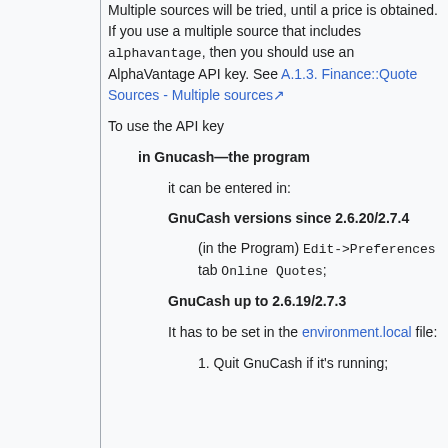Multiple sources will be tried, until a price is obtained. If you use a multiple source that includes alphavantage, then you should use an AlphaVantage API key. See A.1.3. Finance::Quote Sources - Multiple sources
To use the API key
in Gnucash—the program
it can be entered in:
GnuCash versions since 2.6.20/2.7.4
(in the Program) Edit->Preferences tab Online Quotes;
GnuCash up to 2.6.19/2.7.3
It has to be set in the environment.local file:
1. Quit GnuCash if it's running;